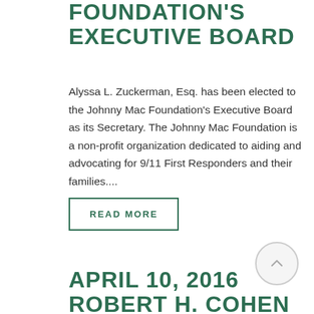FOUNDATION'S EXECUTIVE BOARD
Alyssa L. Zuckerman, Esq. has been elected to the Johnny Mac Foundation's Executive Board as its Secretary. The Johnny Mac Foundation is a non-profit organization dedicated to aiding and advocating for 9/11 First Responders and their families....
READ MORE
APRIL 10, 2016 ROBERT H. COHEN